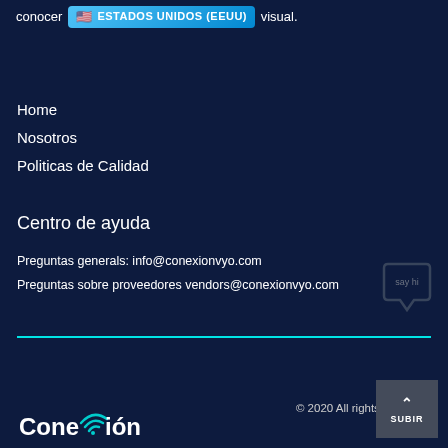conocer lo último en el ámbito de la salud visual.
[Figure (other): Country selector badge showing US flag emoji and text ESTADOS UNIDOS (EEUU) on a blue gradient button]
Home
Nosotros
Politicas de Calidad
Centro de ayuda
Preguntas generals: info@conexionvyo.com
Preguntas sobre proveedores vendors@conexionvyo.com
[Figure (illustration): Chat bubble icon with 'say hi' text]
© 2020 All rights reserved.
[Figure (logo): Conexión logo with wifi signal icon]
[Figure (other): SUBIR (scroll to top) button with upward chevron arrow]